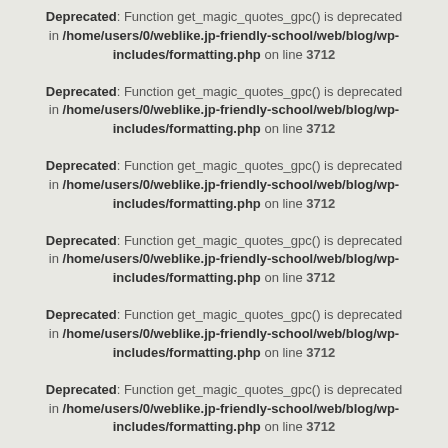Deprecated: Function get_magic_quotes_gpc() is deprecated in /home/users/0/weblike.jp-friendly-school/web/blog/wp-includes/formatting.php on line 3712
Deprecated: Function get_magic_quotes_gpc() is deprecated in /home/users/0/weblike.jp-friendly-school/web/blog/wp-includes/formatting.php on line 3712
Deprecated: Function get_magic_quotes_gpc() is deprecated in /home/users/0/weblike.jp-friendly-school/web/blog/wp-includes/formatting.php on line 3712
Deprecated: Function get_magic_quotes_gpc() is deprecated in /home/users/0/weblike.jp-friendly-school/web/blog/wp-includes/formatting.php on line 3712
Deprecated: Function get_magic_quotes_gpc() is deprecated in /home/users/0/weblike.jp-friendly-school/web/blog/wp-includes/formatting.php on line 3712
Deprecated: Function get_magic_quotes_gpc() is deprecated in /home/users/0/weblike.jp-friendly-school/web/blog/wp-includes/formatting.php on line 3712
Deprecated: Function get_magic_quotes_gpc() is deprecated in /home/users/0/weblike.jp-friendly-school/web/blog/wp-includes/formatting.php on line 3712